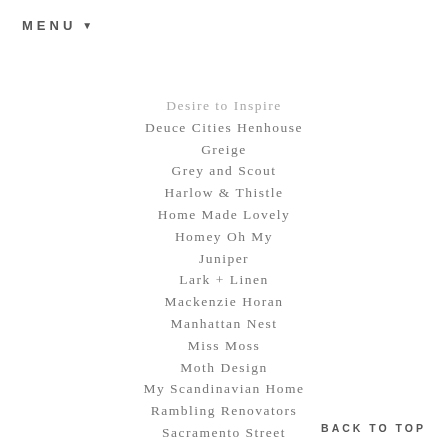MENU
Desire to Inspire
Deuce Cities Henhouse
Greige
Grey and Scout
Harlow & Thistle
Home Made Lovely
Homey Oh My
Juniper
Lark + Linen
Mackenzie Horan
Manhattan Nest
Miss Moss
Moth Design
My Scandinavian Home
Rambling Renovators
Sacramento Street
Sarah Swanson Design
Simply Grove
Sugar & Cloth
Swiss Miss
The Design Files
BACK TO TOP